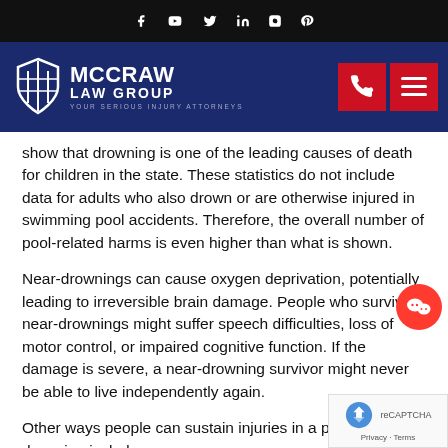Social media icons: Facebook, YouTube, Twitter, LinkedIn, Instagram, Pinterest
[Figure (logo): McCraw Law Group logo — shield icon and text: McCRAW LAW GROUP YOUR SERIOUS INJURY ATTORNEYS, with phone and menu buttons on the right]
show that drowning is one of the leading causes of death for children in the state. These statistics do not include data for adults who also drown or are otherwise injured in swimming pool accidents. Therefore, the overall number of pool-related harms is even higher than what is shown.
Near-drownings can cause oxygen deprivation, potentially leading to irreversible brain damage. People who survive near-drownings might suffer speech difficulties, loss of motor control, or impaired cognitive function. If the damage is severe, a near-drowning survivor might never be able to live independently again.
Other ways people can sustain injuries in a pool besides drowning include: